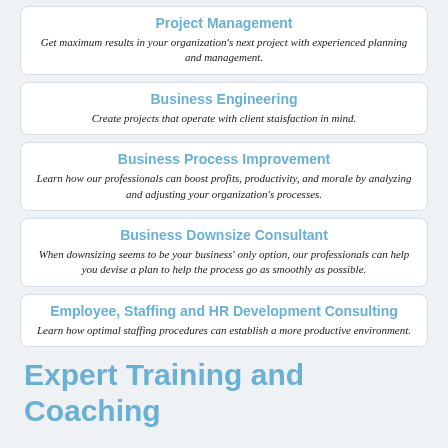Project Management
Get maximum results in your organization's next project with experienced planning and management.
Business Engineering
Create projects that operate with client staisfaction in mind.
Business Process Improvement
Learn how our professionals can boost profits, productivity, and morale by analyzing and adjusting your organization's processes.
Business Downsize Consultant
When downsizing seems to be your business' only option, our professionals can help you devise a plan to help the process go as smoothly as possible.
Employee, Staffing and HR Development Consulting
Learn how optimal staffing procedures can establish a more productive environment.
Expert Training and Coaching